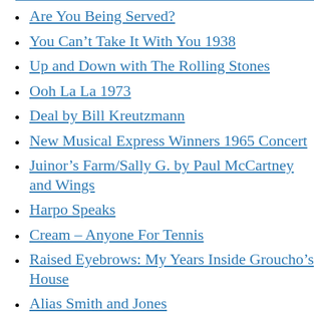Are You Being Served?
You Can't Take It With You 1938
Up and Down with The Rolling Stones
Ooh La La 1973
Deal by Bill Kreutzmann
New Musical Express Winners 1965 Concert
Juinor's Farm/Sally G. by Paul McCartney and Wings
Harpo Speaks
Cream – Anyone For Tennis
Raised Eyebrows: My Years Inside Groucho's House
Alias Smith and Jones
The Raspberries
Everclear
Brian Jones: The Making of the Rolling